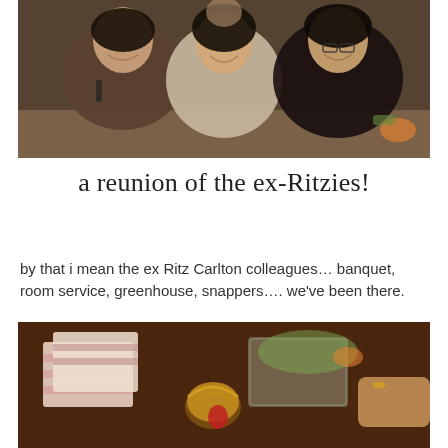[Figure (photo): Three Asian women smiling at a restaurant table, one person partially visible in the background. The women are sitting close together posing for the photo.]
a reunion of the ex-Ritzies!
by that i mean the ex Ritz Carlton colleagues… banquet, room service, greenhouse, snappers…. we've been there.
[Figure (photo): Close-up photo of wrapped gifts and food items on a dark wooden table, including what appears to be decorated packages and a hand reaching in from the right.]